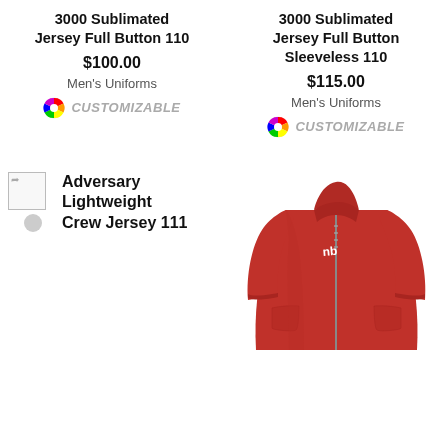3000 Sublimated Jersey Full Button 110
$100.00
Men's Uniforms
CUSTOMIZABLE
3000 Sublimated Jersey Full Button Sleeveless 110
$115.00
Men's Uniforms
CUSTOMIZABLE
Adversary Lightweight Crew Jersey 111
[Figure (photo): Red zip-up athletic jacket/jersey with a high collar and small white logo on the chest, full zip front, and side pockets]